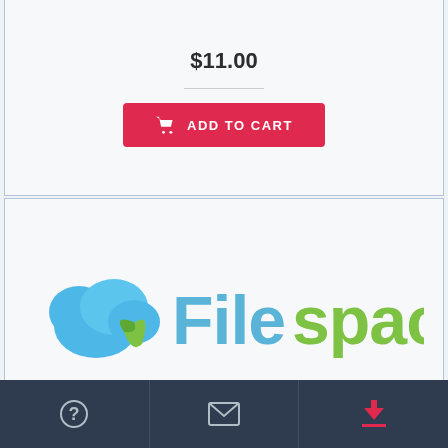$11.00
ADD TO CART
[Figure (logo): Filespace cloud storage logo with blue cloud and green leaf icon, with 'Filespace' text in blue and green gradient]
Filespace Premium 30 days
$14.90
ADD TO CART
-9%
Navigation bar with help, mail, and download icons